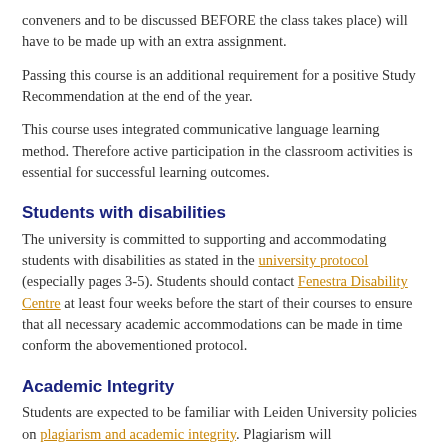conveners and to be discussed BEFORE the class takes place) will have to be made up with an extra assignment.
Passing this course is an additional requirement for a positive Study Recommendation at the end of the year.
This course uses integrated communicative language learning method. Therefore active participation in the classroom activities is essential for successful learning outcomes.
Students with disabilities
The university is committed to supporting and accommodating students with disabilities as stated in the university protocol (especially pages 3-5). Students should contact Fenestra Disability Centre at least four weeks before the start of their courses to ensure that all necessary academic accommodations can be made in time conform the abovementioned protocol.
Academic Integrity
Students are expected to be familiar with Leiden University policies on plagiarism and academic integrity. Plagiarism will